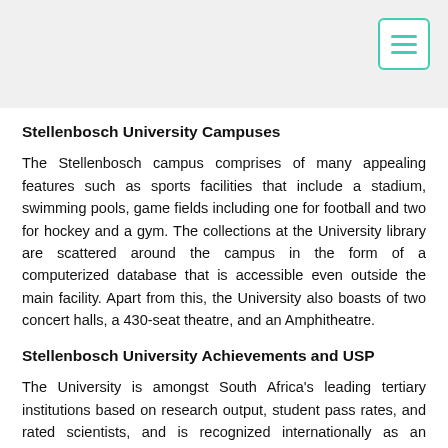Stellenbosch University Campuses
The Stellenbosch campus comprises of many appealing features such as sports facilities that include a stadium, swimming pools, game fields including one for football and two for hockey and a gym. The collections at the University library are scattered around the campus in the form of a computerized database that is accessible even outside the main facility. Apart from this, the University also boasts of two concert halls, a 430-seat theatre, and an Amphitheatre.
Stellenbosch University Achievements and USP
The University is amongst South Africa's leading tertiary institutions based on research output, student pass rates, and rated scientists, and is recognized internationally as an academic institution of excellence. It also has the highest student success rate in the country.
Stellenbosch University Notable Alumni
John Dugard, (Professor of international law), Baron Steyn, (British Law Lord, Lord of Appeal in Ordinary), Friedel...